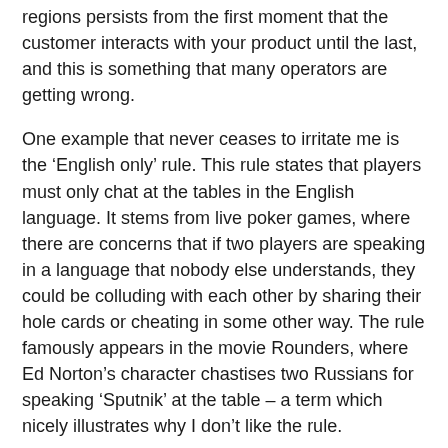regions persists from the first moment that the customer interacts with your product until the last, and this is something that many operators are getting wrong.
One example that never ceases to irritate me is the ‘English only’ rule. This rule states that players must only chat at the tables in the English language. It stems from live poker games, where there are concerns that if two players are speaking in a language that nobody else understands, they could be colluding with each other by sharing their hole cards or cheating in some other way. The rule famously appears in the movie Rounders, where Ed Norton’s character chastises two Russians for speaking ‘Sputnik’ at the table – a term which nicely illustrates why I don’t like the rule.
Players who speak a so-called ‘foreign’ language at the tables are typically issued with a written warning for doing so, which might coincide with a temporary chat ban. Such players, who probably haven’t taken the time to read all of a site’s rules, are often completely perplexed by this course of action, and rightly so. Take a German player as an example.